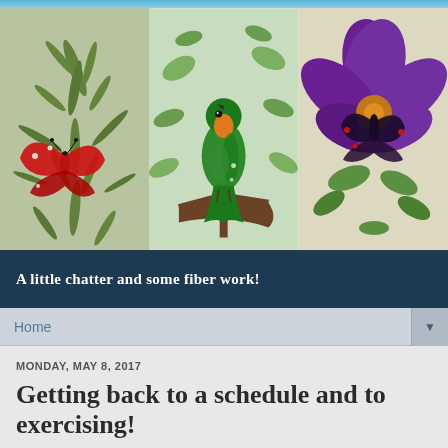[Figure (photo): Three quilt panel photos side by side: left panel shows a red butterfly on green fern fabric, center panel shows a green bird on a branch with leaves, right panel shows purple flowers and a butterfly on cream fabric]
A little chatter and some fiber work!
Home
MONDAY, MAY 8, 2017
Getting back to a schedule and to exercising!